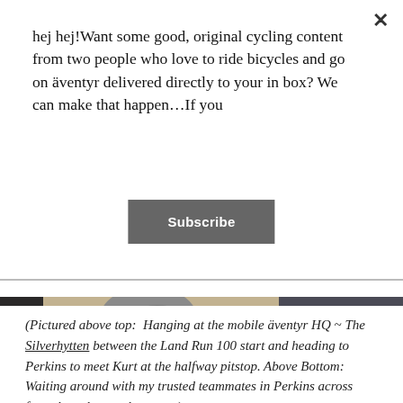hej hej!Want some good, original cycling content from two people who love to ride bicycles and go on äventyr delivered directly to your in box? We can make that happen…If you
Subscribe
[Figure (photo): Close-up photo of what appears to be an animal (likely a cat or dog) paw/foot on a sandy concrete surface, with a shadow and dark asphalt visible in the upper right.]
(Pictured above top:  Hanging at the mobile äventyr HQ ~ The Silverhytten between the Land Run 100 start and heading to Perkins to meet Kurt at the halfway pitstop. Above Bottom:  Waiting around with my trusted teammates in Perkins across from the volunteer bag stop.)